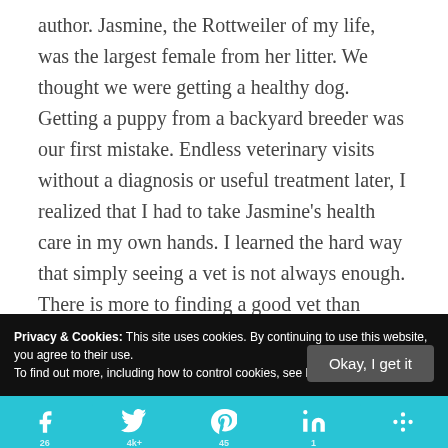author. Jasmine, the Rottweiler of my life, was the largest female from her litter. We thought we were getting a healthy dog. Getting a puppy from a backyard breeder was our first mistake. Endless veterinary visits without a diagnosis or useful treatment later, I realized that I had to take Jasmine's health care in my own hands. I learned the hard way that simply seeing a vet is not always enough. There is more to finding a good vet than finding the closest clinic down the street. And, sadly, there is more to advocating for your dog's
Privacy & Cookies: This site uses cookies. By continuing to use this website, you agree to their use.
To find out more, including how to control cookies, see here: Cookie Policy
Okay, I get it
[Figure (infographic): Social sharing bar with Facebook, Twitter, Pinterest, LinkedIn, and More buttons in teal/cyan color]